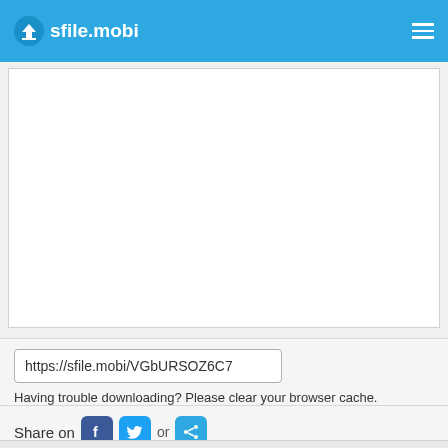sfile.mobi
[Figure (screenshot): White content area / advertisement placeholder]
https://sfile.mobi/VGbURSOZ6C7
Having trouble downloading? Please clear your browser cache.
Share on or